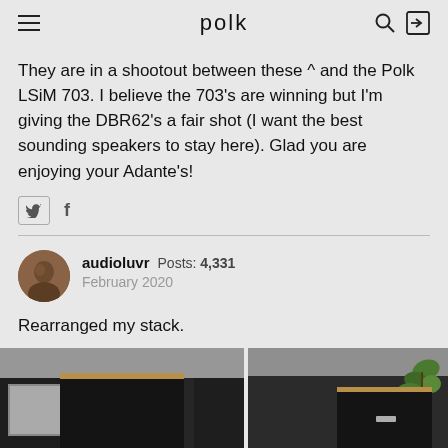polk
They are in a shootout between these ^ and the Polk LSiM 703. I believe the 703's are winning but I'm giving the DBR62's a fair shot (I want the best sounding speakers to stay here). Glad you are enjoying your Adante's!
audioluvr  Posts: 4,331  February 2020
Rearranged my stack.
[Figure (photo): Two photos side by side showing black speakers with wood tops on shelving units with plants and window in background]